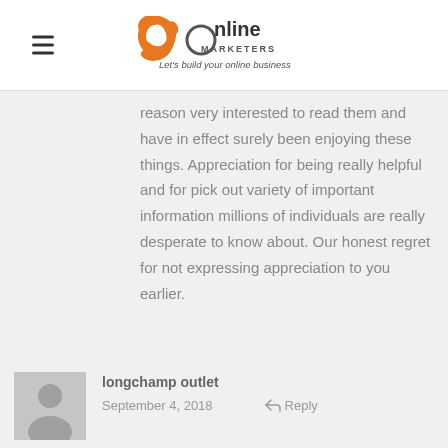[Figure (logo): JR Online Marketers logo with tagline 'Let's build your online business']
reason very interested to read them and have in effect surely been enjoying these things. Appreciation for being really helpful and for pick out variety of important information millions of individuals are really desperate to know about. Our honest regret for not expressing appreciation to you earlier.
longchamp outlet
September 4, 2018
Reply